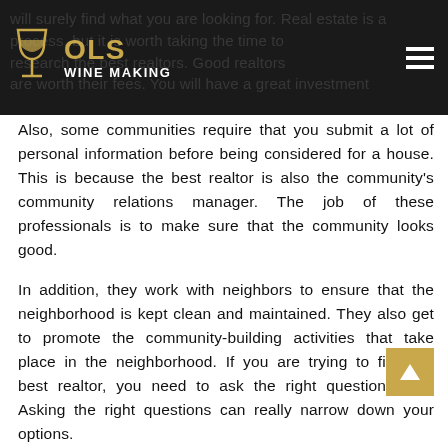OLS WINE MAKING
Also, some communities require that you submit a lot of personal information before being considered for a house. This is because the best realtor is also the community's community relations manager. The job of these professionals is to make sure that the community looks good.
In addition, they work with neighbors to ensure that the neighborhood is kept clean and maintained. They also get to promote the community-building activities that take place in the neighborhood. If you are trying to find the best realtor, you need to ask the right questions first. Asking the right questions can really narrow down your options.